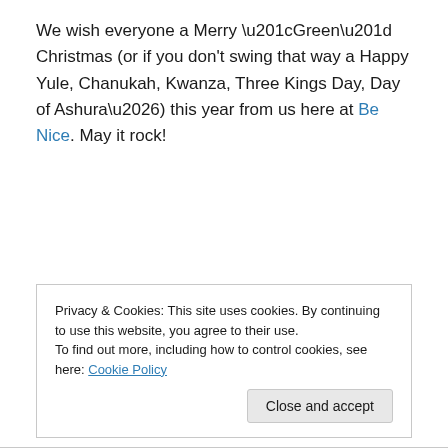We wish everyone a Merry “Green” Christmas (or if you don't swing that way a Happy Yule, Chanukah, Kwanza, Three Kings Day, Day of Ashura…) this year from us here at Be Nice. May it rock!
Much Love.
-Cara and Marine
Privacy & Cookies: This site uses cookies. By continuing to use this website, you agree to their use.
To find out more, including how to control cookies, see here: Cookie Policy